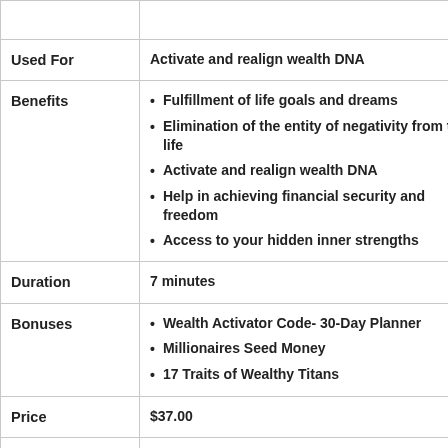|  |  |
| --- | --- |
| Used For | Activate and realign wealth DNA |
| Benefits | Fulfillment of life goals and dreams
Elimination of the entity of negativity from the life
Activate and realign wealth DNA
Help in achieving financial security and freedom
Access to your hidden inner strengths |
| Duration | 7 minutes |
| Bonuses | Wealth Activator Code- 30-Day Planner
Millionaires Seed Money
17 Traits of Wealthy Titans |
| Price | $37.00 |